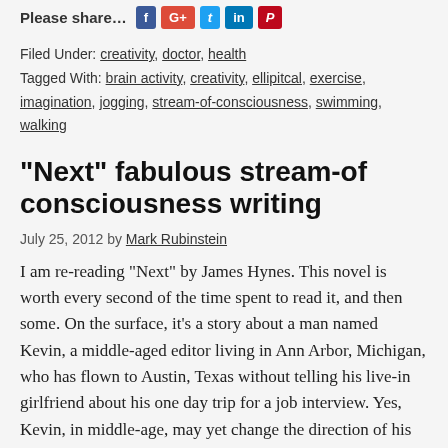Please share... [Facebook] [Google+] [Twitter] [LinkedIn] [Pinterest]
Filed Under: creativity, doctor, health
Tagged With: brain activity, creativity, ellipitcal, exercise, imagination, jogging, stream-of-consciousness, swimming, walking
“Next” fabulous stream-of consciousness writing
July 25, 2012 by Mark Rubinstein
I am re-reading “Next” by James Hynes. This novel is worth every second of the time spent to read it, and then some. On the surface, it’s a story about a man named Kevin, a middle-aged editor living in Ann Arbor, Michigan, who has flown to Austin, Texas without telling his live-in girlfriend about his one day trip for a job interview. Yes, Kevin, in middle-age, may yet change the direction of his